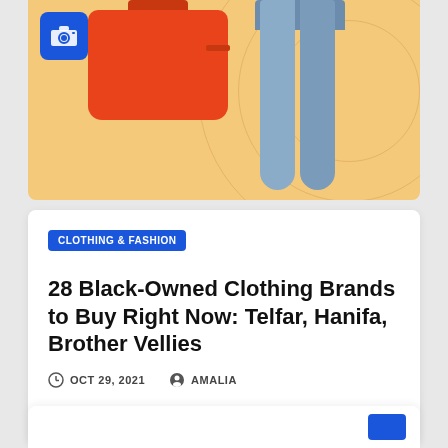[Figure (photo): Fashion product image showing a red/orange crossbody bag and blue flared jeans on a warm yellow/orange background, with a blue camera icon in the top-left corner]
CLOTHING & FASHION
28 Black-Owned Clothing Brands to Buy Right Now: Telfar, Hanifa, Brother Vellies
OCT 29, 2021  AMALIA
...